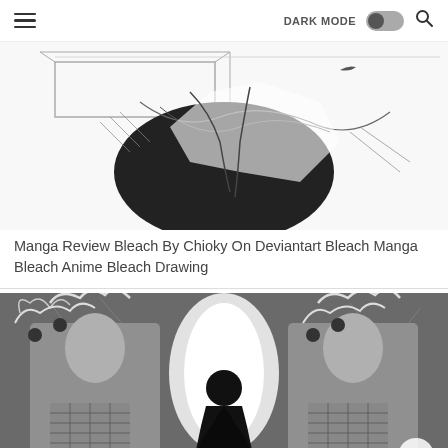☰  DARK MODE [toggle]  🔍
[Figure (illustration): Manga artwork showing a close-up black and white sketch of a character's neck/collar area with a geometric box or coffin-like shape, pencil-drawn style from Bleach manga]
Manga Review Bleach By Chioky On Deviantart Bleach Manga Bleach Anime Bleach Drawing
[Figure (illustration): Black and white manga panel showing a robed figure standing with back turned in the center, surrounded by two large ornate guardian statues with dragon-like weapons, cracked walls in background — Naruto/manga style artwork]